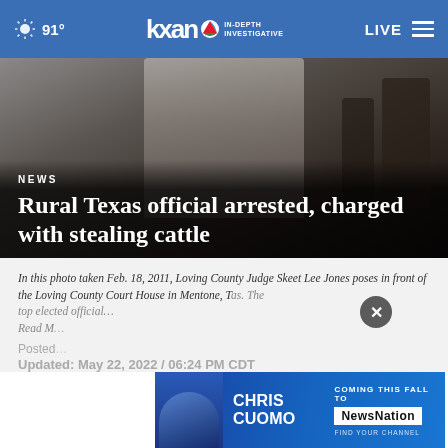91° | KXAN In-Depth Investigative | LIVE
[Figure (photo): Dark, shadowy figure of a person in a light-colored shirt, standing in dim lighting near a building interior.]
NEWS
Rural Texas official arrested, charged with stealing cattle
In this photo taken Feb. 18, 2011, Loving County Judge Skeet Lee Jones poses in front of the Loving County Court House in Mentone, Texas. The top elected official…
Read M…
Posted…
Updated: May 22, 2022 / 06:24 PM CDT